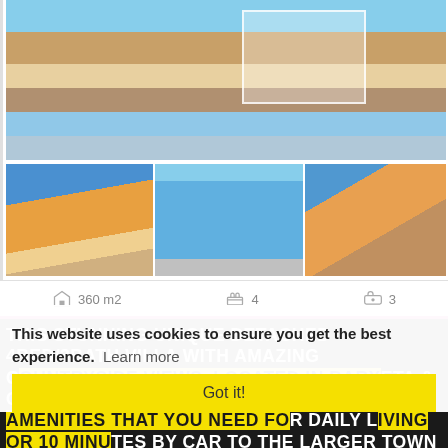[Figure (photo): Main large photo of a property with a white gazebo/canopy tent, orange/terracotta villa building and pool area visible]
[Figure (photo): Thumbnail 1: Yellow villa building with balconies under blue sky with white canopy below]
[Figure (photo): Thumbnail 2: Large rectangular swimming pool with blue water]
[Figure (photo): Thumbnail 3: Outdoor terrace area with garden furniture]
360 m2   4   3
THIS STUNNING UNIQUE DETACHED 4BED/3BATH VILLA WITH AMAZING COUNTRYSIDE VIEWS, LOCATED IN BARXETA & ONLY A 5-10 MINUTE WALK FROM ALL THE AMENITIES THAT YOU NEED FOR DAILY LIVING OR 10 MINUTES BY CAR TO THE LARGER TOWN OF XATIVA, YET ONLY 30 MINUTES BY CAR F
This website uses cookies to ensure you get the best experience.  Learn more
Got it!